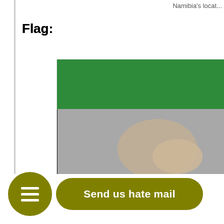Namibia's location
Flag:
[Figure (illustration): Zambia national flag: green top stripe, black center band, red accent with silhouette profile, green bottom stripe]
National F
Language: Nambabble
Government: Great Monarchy
National Bird: Cattle Egret
[Figure (photo): Partial photo at bottom right, appears to show a hand or animal]
Send us hate mail